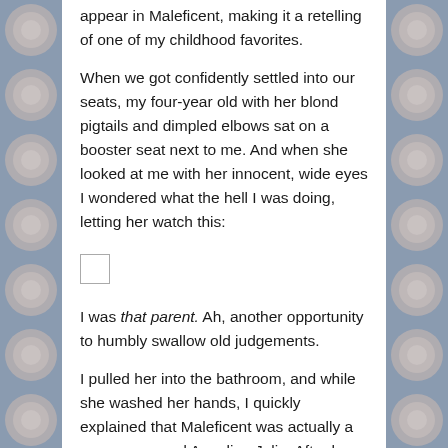appear in Maleficent, making it a retelling of one of my childhood favorites.
When we got confidently settled into our seats, my four-year old with her blond pigtails and dimpled elbows sat on a booster seat next to me. And when she looked at me with her innocent, wide eyes I wondered what the hell I was doing, letting her watch this:
[Figure (other): Small placeholder/broken image box]
I was that parent.  Ah, another opportunity to humbly swallow old judgements.
I pulled her into the bathroom, and while she washed her hands, I quickly explained that Maleficent was actually a mommy named Angelina Jolie. After her job pretending to be scary, she puts down her horns and pulls on her jeans and has dinner with her kids.  Just a mom.
I am happy to report that this strategy worked beautifully,